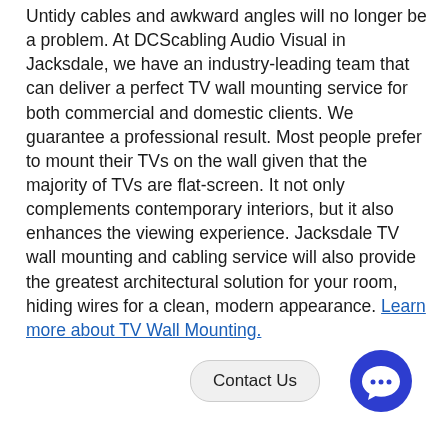Untidy cables and awkward angles will no longer be a problem. At DCScabling Audio Visual in Jacksdale, we have an industry-leading team that can deliver a perfect TV wall mounting service for both commercial and domestic clients. We guarantee a professional result. Most people prefer to mount their TVs on the wall given that the majority of TVs are flat-screen. It not only complements contemporary interiors, but it also enhances the viewing experience. Jacksdale TV wall mounting and cabling service will also provide the greatest architectural solution for your room, hiding wires for a clean, modern appearance. Learn more about TV Wall Mounting.
[Figure (other): Contact Us button with chat icon circle in blue]